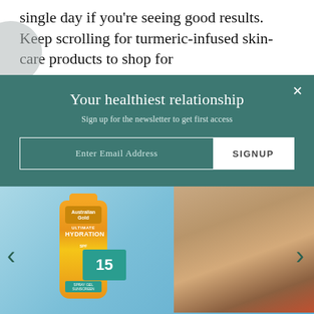single day if you're seeing good results. Keep scrolling for turmeric-infused skin-care products to shop for
Your healthiest relationship
Sign up for the newsletter to get first access
Enter Email Address
SIGNUP
[Figure (photo): Advertisement showing Australian Gold SPF 15 Spray Gel Sunscreen bottle against a pool water background with two women in sunglasses]
SPF 15 Spray Gel Sunscreen
[Figure (photo): Award Winning! banner advertisement in peach/coral color with a sunscreen product image on right]